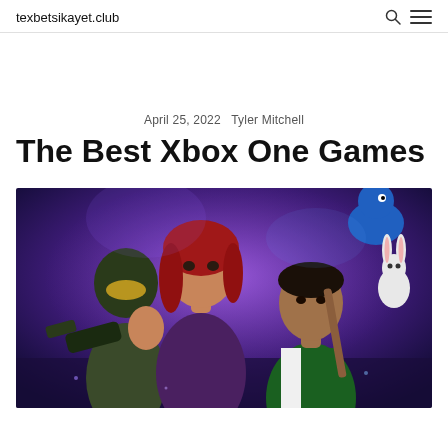texbetsikayet.club
April 25, 2022  Tyler Mitchell
The Best Xbox One Games
[Figure (illustration): Promotional artwork showing multiple Xbox One game characters: a woman with red hair in a purple jacket, a Halo Master Chief soldier in green armor holding a gun, a man in a green varsity jacket, a blue bird, and a white rabbit, all set against a purple/blue sci-fi background.]